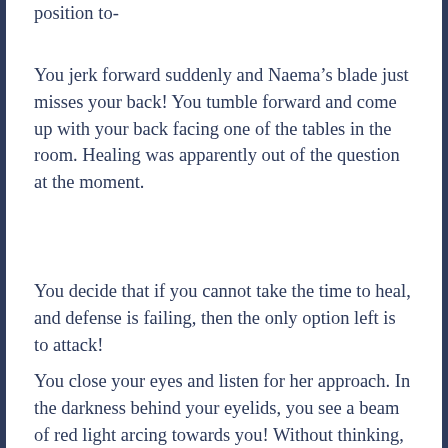position to-
You jerk forward suddenly and Naema's blade just misses your back! You tumble forward and come up with your back facing one of the tables in the room. Healing was apparently out of the question at the moment.
You decide that if you cannot take the time to heal, and defense is failing, then the only option left is to attack!
You close your eyes and listen for her approach. In the darkness behind your eyelids, you see a beam of red light arcing towards you! Without thinking, you leap aside, rolling over a table in the process.